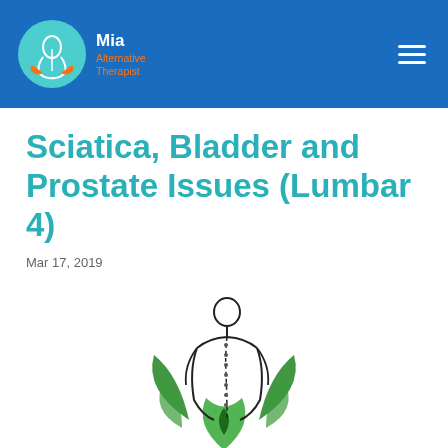Mia Alternative Therapist
Sciatica, Bladder and Prostate Issues (Lumbar 4)
Mar 17, 2019
[Figure (illustration): Illustration of a person viewed from behind with spine visible and green leaves at the base, representing holistic/alternative therapy]
Physical Issues